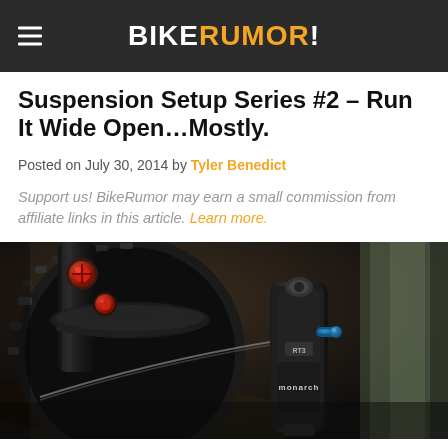BIKERUMOR!
Suspension Setup Series #2 – Run It Wide Open…Mostly.
Posted on July 30, 2014 by Tyler Benedict
Support us! BikeRumor may earn a small commission from affiliate links in this article. Learn more.
[Figure (photo): Close-up photo of a mountain bike rear suspension setup showing a RockShox Monarch RT3 rear shock mounted to a bike frame, with muddy tires visible in the background. The shock has red and blue adjustment knobs.]